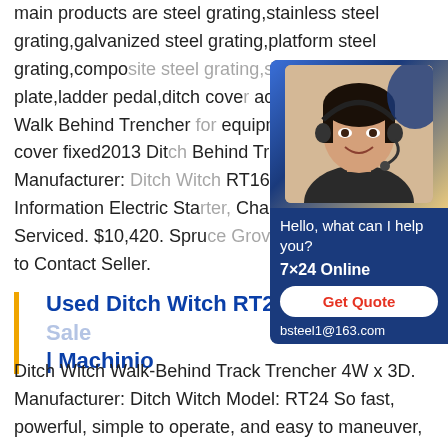main products are steel grating,stainless steel grating,galvanized steel grating,platform steel grating,composite steel grating,steel grating,grid plate,ladder pedal,ditch cover accessories.Used Walk Behind Trencher equipment rate ditch cover fixed2013 Ditch Behind Tracked Trencher. Manufacturer: RT16. Additional Information Electric Sta Chain Recently Serviced. $10,420. Spruce Canada. Click to Contact Seller.
[Figure (other): Customer service chat widget with a woman wearing a headset, dark blue background, 'Hello, what can I help you?', '7×24 Online', 'Get Quote' button in red/white, 'bsteel1@163.com' contact email]
Used Ditch Witch RT24 T... | Machinio
Ditch Witch Walk-Behind Track Trencher 4W x 3D. Manufacturer: Ditch Witch Model: RT24 So fast, powerful, simple to operate, and easy to maneuver, the 22.3 HP Ditch Witch RT24 walk-behind trencher is a dream machine for electrical, plumbing and